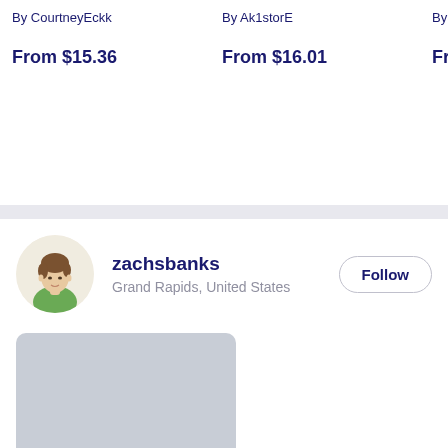By CourtneyEckk
By Ak1storE
By 269
From $15.36
From $16.01
From
zachsbanks
Grand Rapids, United States
Follow
[Figure (photo): Gray placeholder image box for Apollo 17 Mission Patch product]
Apollo 17 Mission Patch